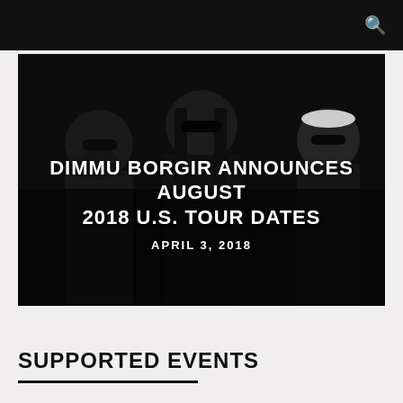[Figure (photo): Three members of Dimmu Borgir standing against a black background, all wearing sunglasses and dark clothing. The text overlay reads 'DIMMU BORGIR ANNOUNCES AUGUST 2018 U.S. TOUR DATES' and 'APRIL 3, 2018'.]
DIMMU BORGIR ANNOUNCES AUGUST 2018 U.S. TOUR DATES
APRIL 3, 2018
SUPPORTED EVENTS